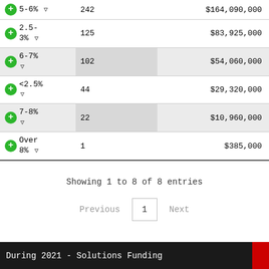| Rate Range | Count | Amount |
| --- | --- | --- |
| 5-6% | 242 | $164,090,000 |
| 2.5-3% | 125 | $83,925,000 |
| 6-7% | 102 | $54,060,000 |
| <2.5% | 44 | $29,320,000 |
| 7-8% | 22 | $10,960,000 |
| Over 8% | 1 | $385,000 |
Showing 1 to 8 of 8 entries
Previous  1  Next
During 2021 - Solutions Funding